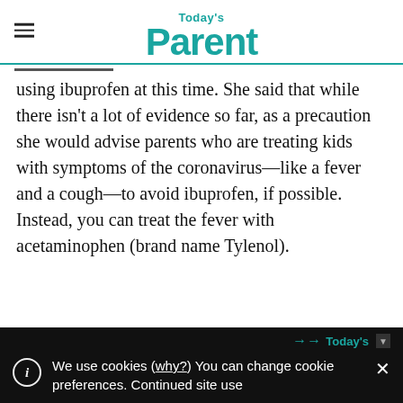Today's Parent
using ibuprofen at this time. She said that while there isn't a lot of evidence so far, as a precaution she would advise parents who are treating kids with symptoms of the coronavirus—like a fever and a cough—to avoid ibuprofen, if possible. Instead, you can treat the fever with acetaminophen (brand name Tylenol).
We use cookies (why?) You can change cookie preferences. Continued site use